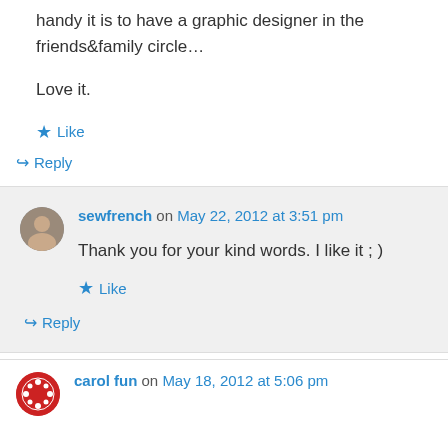handy it is to have a graphic designer in the friends&family circle…
Love it.
★ Like
↪ Reply
sewfrench on May 22, 2012 at 3:51 pm
Thank you for your kind words. I like it ; )
★ Like
↪ Reply
carol fun on May 18, 2012 at 5:06 pm